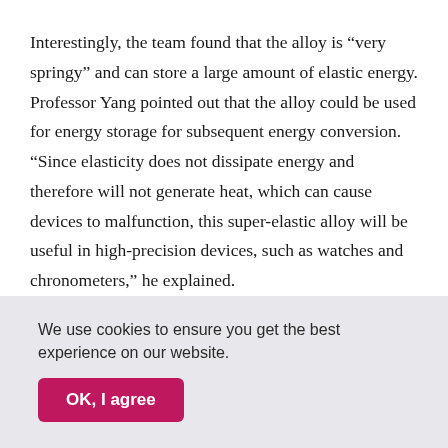Interestingly, the team found that the alloy is “very springy” and can store a large amount of elastic energy. Professor Yang pointed out that the alloy could be used for energy storage for subsequent energy conversion. “Since elasticity does not dissipate energy and therefore will not generate heat, which can cause devices to malfunction, this super-elastic alloy will be useful in high-precision devices, such as watches and chronometers,” he explained.
We use cookies to ensure you get the best experience on our website.